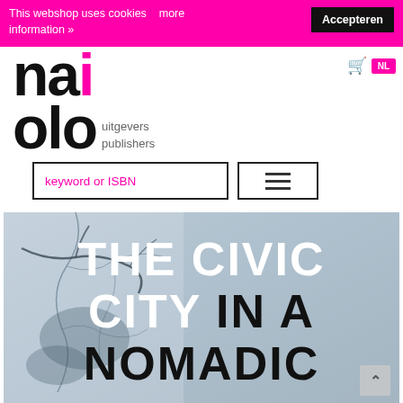This webshop uses cookies   more information »
Accepteren
[Figure (logo): nai|olo publishers logo with pink dot]
uitgevers
publishers
keyword or ISBN
[Figure (other): Hamburger menu icon]
[Figure (photo): Book cover: THE CIVIC CITY IN A NOMADIC WORLD with cracked stone texture background]